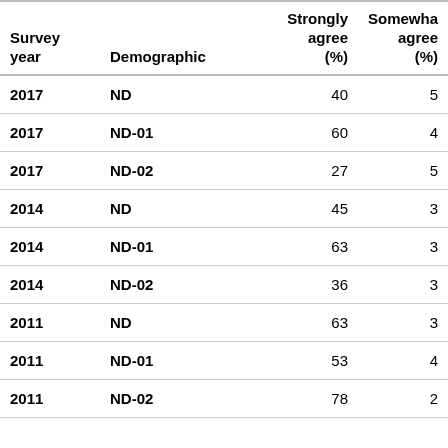| Survey year | Demographic | Strongly agree (%) | Somewhat agree (%) |
| --- | --- | --- | --- |
| 2017 | ND | 40 | 5 |
| 2017 | ND-01 | 60 | 4 |
| 2017 | ND-02 | 27 | 5 |
| 2014 | ND | 45 | 3 |
| 2014 | ND-01 | 63 | 3 |
| 2014 | ND-02 | 36 | 3 |
| 2011 | ND | 63 | 3 |
| 2011 | ND-01 | 53 | 4 |
| 2011 | ND-02 | 78 | 2 |